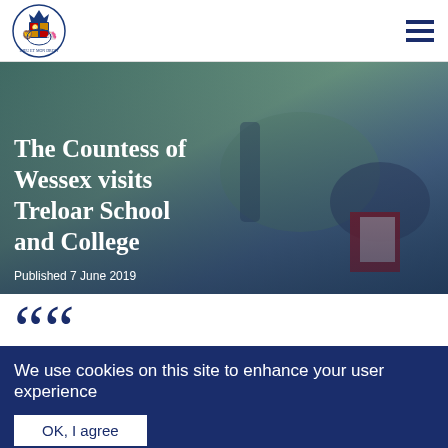[Figure (logo): Royal coat of arms / crown logo for the Royal Family website]
[Figure (photo): Background photo showing hands and a wheelchair, partially visible. Text overlay reads 'The Countess of Wessex visits Treloar School and College'. Date: Published 7 June 2019]
The Countess of Wessex visits Treloar School and College
Published 7 June 2019
““
We use cookies on this site to enhance your user experience
By clicking any link on this page you are giving your consent for us to set cookies. No, give me more info
OK, I agree